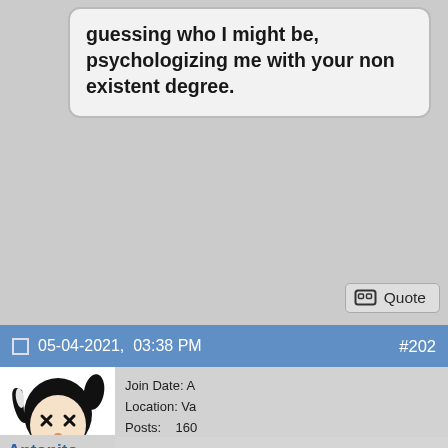guessing who I might be, psychologizing me with your non existent degree.
Quote
05-04-2021, 03:38 PM
#202
[Figure (illustration): Forum user avatar: anime-style chibi character with dark hair in pigtails, X eyes, wearing red outfit, holding a microphone]
Join Date: A
Location: Va
Posts: 160
Rep Power: 0
Antonito
Registered User
Originally Posted by killramos
Most leftists have a very hard time admitting that their support of government intervention and policy is largely driven by their personal self interest. Including yourself.